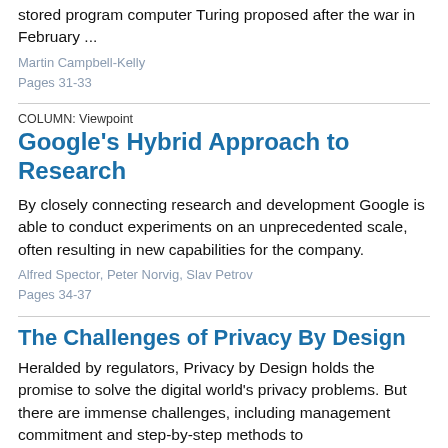stored program computer Turing proposed after the war in February ...
Martin Campbell-Kelly
Pages 31-33
COLUMN: Viewpoint
Google's Hybrid Approach to Research
By closely connecting research and development Google is able to conduct experiments on an unprecedented scale, often resulting in new capabilities for the company.
Alfred Spector, Peter Norvig, Slav Petrov
Pages 34-37
The Challenges of Privacy By Design
Heralded by regulators, Privacy by Design holds the promise to solve the digital world's privacy problems. But there are immense challenges, including management commitment and step-by-step methods to